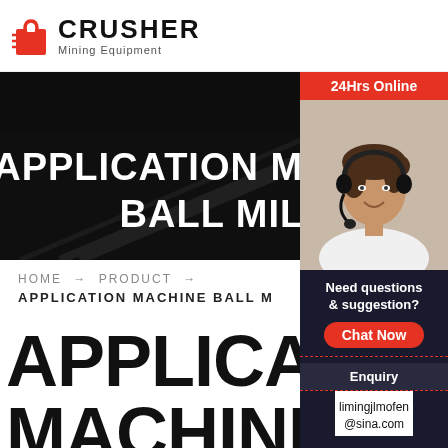[Figure (logo): Crusher Mining Equipment logo with red shopping bag icon and bold text]
[Figure (photo): Dark industrial mining equipment hero banner background with large white bold text reading APPLICATION MACHINE BALL MILL]
HOME → PRODUCT →
APPLICATION MACHINE BALL M...
APPLICATION MACHINE BA...
[Figure (photo): Sidebar with 24Hrs Online red header, woman with headset, Need questions & suggestion text, Chat Now button, Enquiry section, and limingjlmofen@sina.com email]